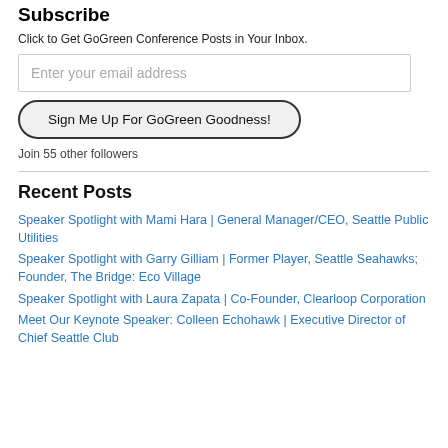Subscribe
Click to Get GoGreen Conference Posts in Your Inbox.
Enter your email address
Sign Me Up For GoGreen Goodness!
Join 55 other followers
Recent Posts
Speaker Spotlight with Mami Hara | General Manager/CEO, Seattle Public Utilities
Speaker Spotlight with Garry Gilliam | Former Player, Seattle Seahawks; Founder, The Bridge: Eco Village
Speaker Spotlight with Laura Zapata | Co-Founder, Clearloop Corporation
Meet Our Keynote Speaker: Colleen Echohawk | Executive Director of Chief Seattle Club